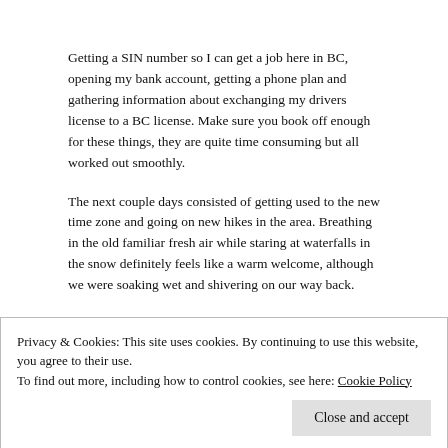Getting a SIN number so I can get a job here in BC, opening my bank account, getting a phone plan and gathering information about exchanging my drivers license to a BC license. Make sure you book off enough for these things, they are quite time consuming but all worked out smoothly.
The next couple days consisted of getting used to the new time zone and going on new hikes in the area. Breathing in the old familiar fresh air while staring at waterfalls in the snow definitely feels like a warm welcome, although we were soaking wet and shivering on our way back.
Today, it's job hunting day, a bit later than expected but more motivated and focused than a couple days ago.
As for now, this is were I will leave you, sitting in a Starbucks near English B...
Privacy & Cookies: This site uses cookies. By continuing to use this website, you agree to their use.
To find out more, including how to control cookies, see here: Cookie Policy
Close and accept